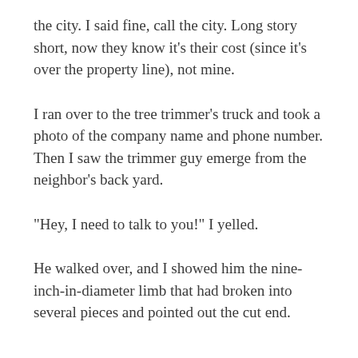the city. I said fine, call the city. Long story short, now they know it’s their cost (since it’s over the property line), not mine.
I ran over to the tree trimmer’s truck and took a photo of the company name and phone number. Then I saw the trimmer guy emerge from the neighbor’s back yard.
“Hey, I need to talk to you!” I yelled.
He walked over, and I showed him the nine-inch-in-diameter limb that had broken into several pieces and pointed out the cut end.